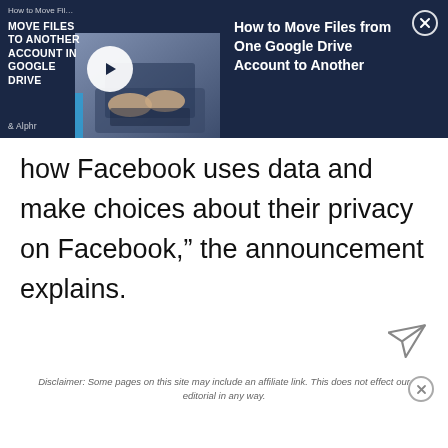[Figure (screenshot): Video banner for 'How to Move Files from One Google Drive Account to Another' with thumbnail showing hands on laptop and play button, on dark navy background with Alphr logo]
how Facebook uses data and make choices about their privacy on Facebook,” the announcement explains.
[Figure (illustration): Send/share icon (paper plane arrow)]
Disclaimer: Some pages on this site may include an affiliate link. This does not effect our editorial in any way.